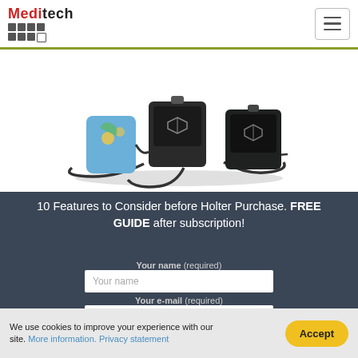[Figure (logo): Meditech logo with text and dot grid]
[Figure (photo): Holter monitor devices — three black medical monitoring devices with cables and a colorful cuff]
10 Features to Consider before Holter Purchase. FREE GUIDE after subscription!
Your name (required)
Your name
Your e-mail (required)
Your e-mail
Your country
Please select...
We use cookies to improve your experience with our site. More information. Privacy statement